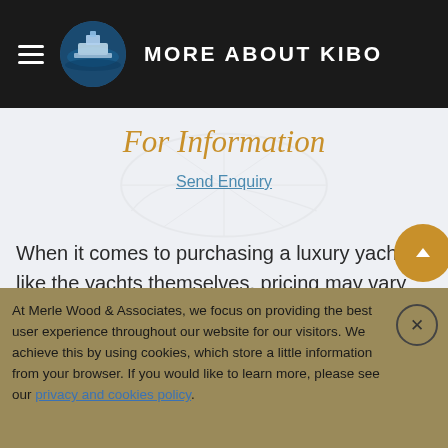MORE ABOUT KIBO
For Information
Send Enquiry
When it comes to purchasing a luxury yacht, like the yachts themselves, pricing may vary greatly. In the event there is no KIBO yacht price , the industry knowledge of Merle Wood & Associates will help you
At Merle Wood & Associates, we focus on providing the best user experience throughout our website for our visitors. We achieve this by using cookies, which store a little information from your browser. If you would like to learn more, please see our privacy and cookies policy.